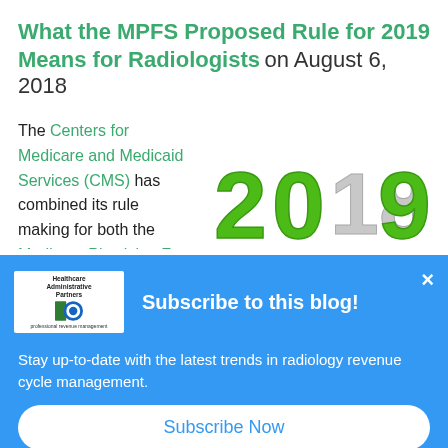What the MPFS Proposed Rule for 2019 Means for Radiologists on August 6, 2018
The Centers for Medicare and Medicaid Services (CMS) has combined its rule making for both the Medicare Physician F…
[Figure (illustration): 3D green and silver text '2019' replacing '2018', symbolizing the year change]
Subscribe to this blog!
Stay up-to-date with the latest trends in radiology revenue cycle management.
Subscribe Now